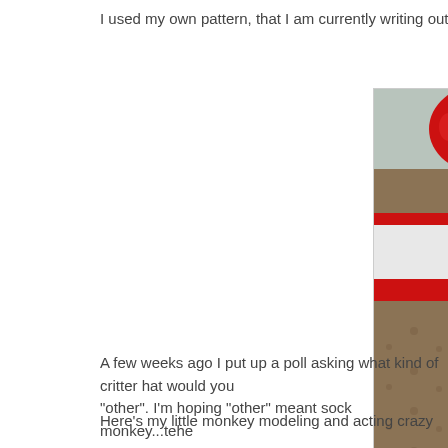I used my own pattern, that I am currently writing out. It is really easy and
[Figure (photo): A crocheted sock monkey hat in brown, red, and white yarn, featuring button eyes, a white muzzle patch with red smile and small x marks, red and white striped brim, and a red pom-pom on top, displayed on a light surface.]
A few weeks ago I put up a poll asking what kind of critter hat would you like. The majority said "other". I'm hoping "other" meant sock monkey...tehe
Here's my little monkey modeling and acting crazy